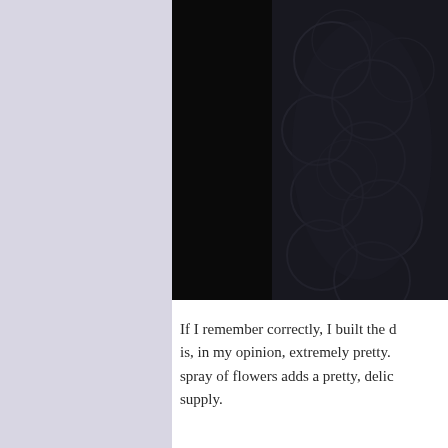[Figure (photo): A dark, mostly black photograph showing what appears to be a person or figure wearing dark lace or mesh fabric with circular/swirl patterns, visible in the upper-right portion of the page.]
If I remember correctly, I built the dress is, in my opinion, extremely pretty. spray of flowers adds a pretty, delic supply.